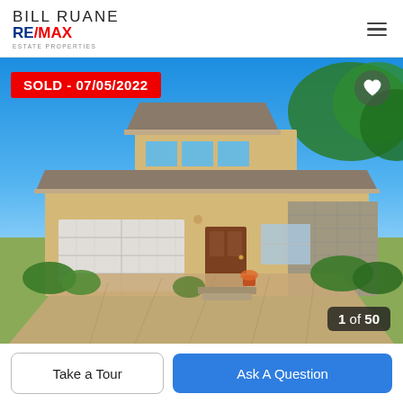BILL RUANE RE/MAX ESTATE PROPERTIES
[Figure (photo): Exterior photo of a two-story California stucco home with stone accents, two-car garage, decorative front door, blue sky, and landscaped front yard. A red 'SOLD - 07/05/2022' badge overlays the top-left. Caption '1 of 50' in bottom-right corner.]
SOLD - 07/05/2022
1 of 50